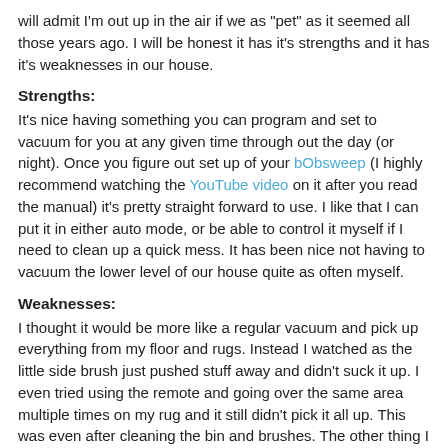will admit I'm out up in the air if we as "pet" as it seemed all those years ago. I will be honest it has it's strengths and it has it's weaknesses in our house.
Strengths:
It's nice having something you can program and set to vacuum for you at any given time through out the day (or night). Once you figure out set up of your bObsweep (I highly recommend watching the YouTube video on it after you read the manual) it's pretty straight forward to use. I like that I can put it in either auto mode, or be able to control it myself if I need to clean up a quick mess. It has been nice not having to vacuum the lower level of our house quite as often myself.
Weaknesses:
I thought it would be more like a regular vacuum and pick up everything from my floor and rugs. Instead I watched as the little side brush just pushed stuff away and didn't suck it up. I even tried using the remote and going over the same area multiple times on my rug and it still didn't pick it all up. This was even after cleaning the bin and brushes. The other thing I didn't really like was the noise it makes when you tell it to go "home" to the charging base. It emits a squealing sound I